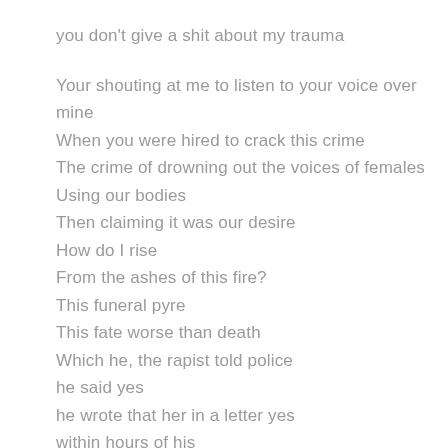you don't give a shit about my trauma

Your shouting at me to listen to your voice over mine
When you were hired to crack this crime
The crime of drowning out the voices of females
Using our bodies
Then claiming it was our desire
How do I rise
From the ashes of this fire?
This funeral pyre
This fate worse than death
Which he, the rapist told police
he said yes
he wrote that her in a letter yes
within hours of his

supposedly consensual sex
that left me with injuries internally and